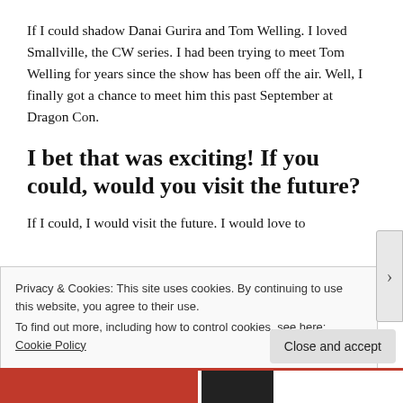If I could shadow Danai Gurira and Tom Welling. I loved Smallville, the CW series. I had been trying to meet Tom Welling for years since the show has been off the air. Well, I finally got a chance to meet him this past September at Dragon Con.
I bet that was exciting! If you could, would you visit the future?
If I could, I would visit the future. I would love to
Privacy & Cookies: This site uses cookies. By continuing to use this website, you agree to their use.
To find out more, including how to control cookies, see here: Cookie Policy